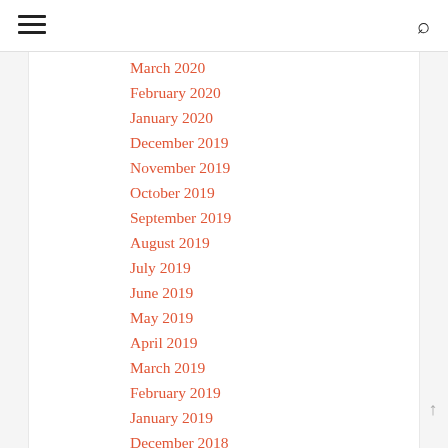≡ [hamburger menu icon] ... [search icon]
March 2020
February 2020
January 2020
December 2019
November 2019
October 2019
September 2019
August 2019
July 2019
June 2019
May 2019
April 2019
March 2019
February 2019
January 2019
December 2018